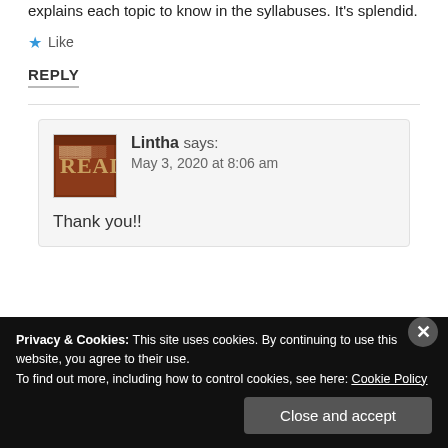explains each topic to know in the syllabuses. It's splendid.
★ Like
REPLY
Lintha says: May 3, 2020 at 8:06 am
Thank you!!
Privacy & Cookies: This site uses cookies. By continuing to use this website, you agree to their use. To find out more, including how to control cookies, see here: Cookie Policy
Close and accept